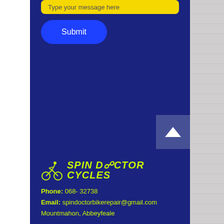[Figure (screenshot): Yellow rounded input box with placeholder text 'Type your message here']
[Figure (screenshot): Blue rounded Submit button]
[Figure (logo): Spin Doctor Cycles logo with cyclist icon and yellow-green italic text]
Phone: 068- 32738
Email: spindoctorbikerepair@gmail.com
Mountmahon, Abbeyfeale